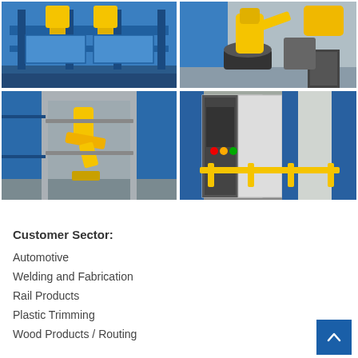[Figure (photo): Industrial robotic welding fixture on blue metal frame structure]
[Figure (photo): Yellow industrial robot arm with positioner/turntable in workshop]
[Figure (photo): Yellow robot arm inside blue safety enclosure with open doors]
[Figure (photo): Industrial control cabinet and blue/white safety enclosure with yellow railing]
Customer Sector:
Automotive
Welding and Fabrication
Rail Products
Plastic Trimming
Wood Products / Routing